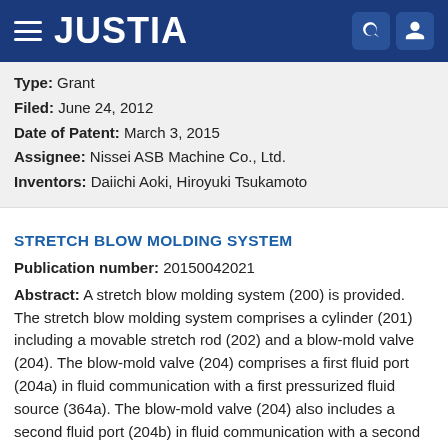JUSTIA
Type: Grant
Filed: June 24, 2012
Date of Patent: March 3, 2015
Assignee: Nissei ASB Machine Co., Ltd.
Inventors: Daiichi Aoki, Hiroyuki Tsukamoto
STRETCH BLOW MOLDING SYSTEM
Publication number: 20150042021
Abstract: A stretch blow molding system (200) is provided. The stretch blow molding system comprises a cylinder (201) including a movable stretch rod (202) and a blow-mold valve (204). The blow-mold valve (204) comprises a first fluid port (204a) in fluid communication with a first pressurized fluid source (364a). The blow-mold valve (204) also includes a second fluid port (204b) in fluid communication with a second pressurized fluid